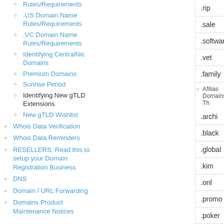Rules/Requirements
.US Domain Name Rules/Requirements
.VC Domain Name Rules/Requirements
Identifying CentralNic Domains
Premium Domains
Sunrise Period
Identifying New gTLD Extensions
New gTLD Wishlist
Whois Data Verification
Whois Data Reminders
RESELLERS: Read this to setup your Domain Registration Business
DNS
Domain / URL Forwarding
Domains Product Maintenance Notices
.rip
.sale
.software
.vet
.family
Afilias Domains: Th
.archi
.black
.global
.kim
.onl
.promo
.poker